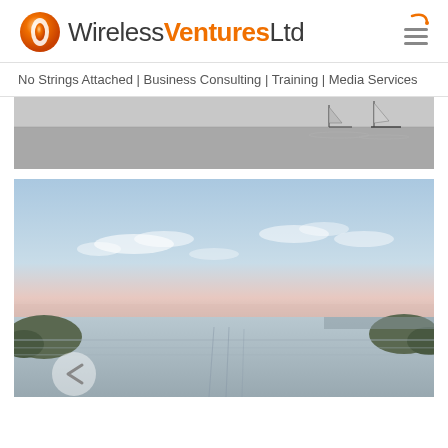[Figure (logo): Wireless Ventures Ltd logo with orange circular icon and company name]
[Figure (other): Hamburger menu icon with decorative orange swoosh]
No Strings Attached | Business Consulting | Training | Media Services
[Figure (photo): Black and white photo of sailboats on calm water]
[Figure (photo): Color photo of a coastal waterway at dusk with soft pink and blue sky, mangroves and marina in background]